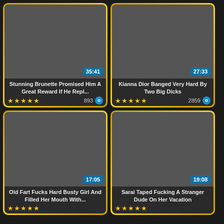[Figure (photo): Video thumbnail showing outdoor car scene, duration 35:41]
Stunning Brunette Promised Him A Great Reward If He Repl...
★★★★★ 893
[Figure (photo): Video thumbnail showing woman by pool, duration 27:33]
Kianna Dior Banged Very Hard By Two Big Dicks
★★★★★ 2859
[Figure (photo): Video thumbnail showing two people, duration 17:05]
Old Fart Fucks Hard Busty Girl And Filled Her Mouth With...
★★★★★
[Figure (photo): Video thumbnail showing intimate scene, duration 19:08]
Sarai Taped Fucking A Stranger Dude On Her Vacation
★★★★★